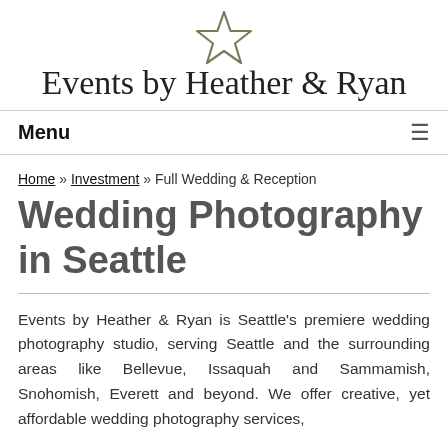[Figure (logo): Events by Heather & Ryan logo with star above the text]
Menu ≡
Home » Investment » Full Wedding & Reception
Wedding Photography in Seattle
Events by Heather & Ryan is Seattle's premiere wedding photography studio, serving Seattle and the surrounding areas like Bellevue, Issaquah and Sammamish, Snohomish, Everett and beyond. We offer creative, yet affordable wedding photography services,